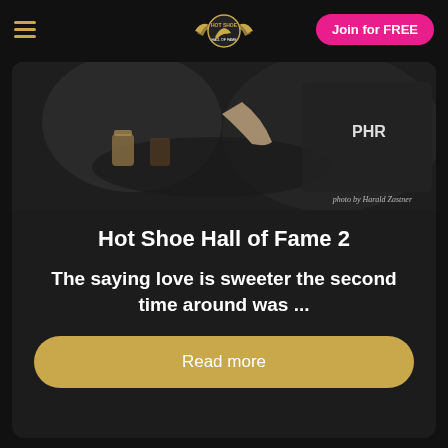Hot Shoe Hall of Fame — navigation bar with hamburger menu, logo, and Join for FREE button
[Figure (photo): Dark photo of people at a table with drinks, person wearing a PHR jacket, photo credit: photo by Harald Zastner]
Hot Shoe Hall of Fame 2
The saying love is sweeter the second time around was ...
Read more